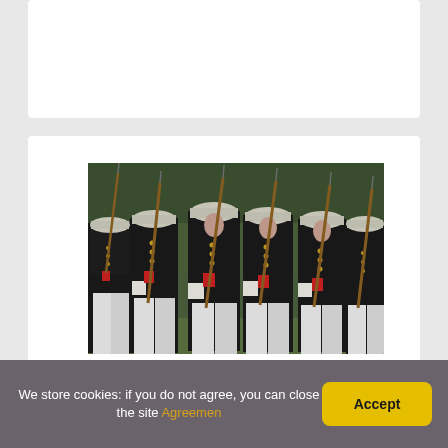[Figure (photo): Female US Marines in dress uniform (black jackets with red accents, white trousers, white covers/caps) marching in formation carrying rifles with bayonets. Multiple rows visible, green grass and trees in background.]
We store cookies: if you do not agree, you can close the site Agreemen